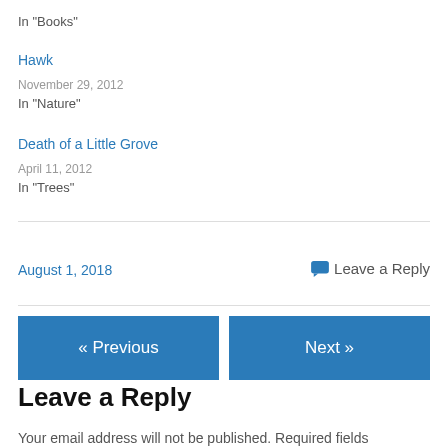In "Books"
Hawk
November 29, 2012
In "Nature"
Death of a Little Grove
April 11, 2012
In "Trees"
August 1, 2018
Leave a Reply
« Previous
Next »
Leave a Reply
Your email address will not be published. Required fields